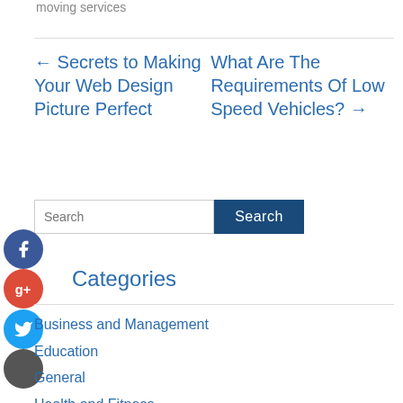moving services
← Secrets to Making Your Web Design Picture Perfect
What Are The Requirements Of Low Speed Vehicles? →
Search
Categories
Business and Management
Education
General
Health and Fitness